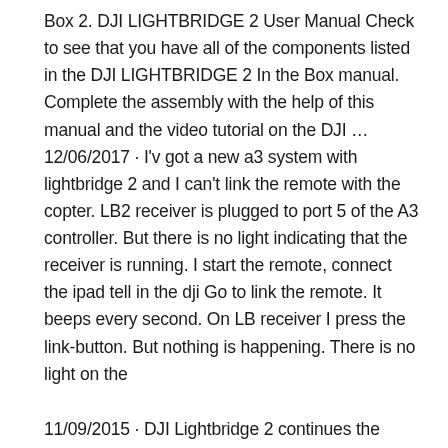Box 2. DJI LIGHTBRIDGE 2 User Manual Check to see that you have all of the components listed in the DJI LIGHTBRIDGE 2 In the Box manual. Complete the assembly with the help of this manual and the video tutorial on the DJI … 12/06/2017 · I'v got a new a3 system with lightbridge 2 and I can't link the remote with the copter. LB2 receiver is plugged to port 5 of the A3 controller. But there is no light indicating that the receiver is running. I start the remote, connect the ipad tell in the dji Go to link the remote. It beeps every second. On LB receiver I press the link-button. But nothing is happening. There is no light on the
11/09/2015 · DJI Lightbridge 2 continues the